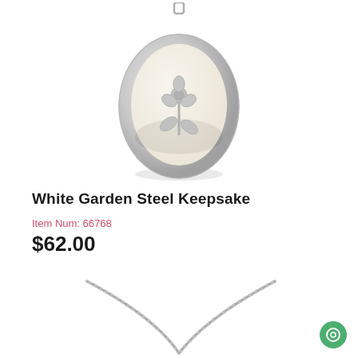[Figure (photo): Silver oval locket pendant with cream/white enamel background and a silver rose flower with stem and leaves embossed on the front, shown from the front on a white background.]
White Garden Steel Keepsake
Item Num: 66768
$62.00
[Figure (photo): Silver box chain necklace spread in a V-shape on white background, showing two strands of the chain meeting at the bottom center.]
[Figure (other): Green circular help/info button with a circle icon, positioned in the bottom right corner.]